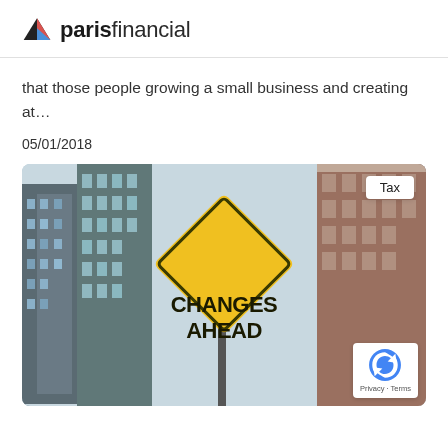paris financial
that those people growing a small business and creating at...
05/01/2018
[Figure (photo): A yellow diamond-shaped road sign reading 'CHANGES AHEAD' against a background of tall city buildings viewed from below, with a 'Tax' label badge in the top right corner and a reCAPTCHA badge in the bottom right corner.]